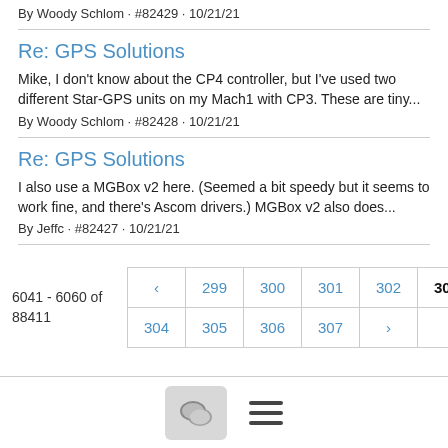By Woody Schlom · #82429 · 10/21/21
Re: GPS Solutions
Mike, I don't know about the CP4 controller, but I've used two different Star-GPS units on my Mach1 with CP3. These are tiny...
By Woody Schlom · #82428 · 10/21/21
Re: GPS Solutions
I also use a MGBox v2 here. (Seemed a bit speedy but it seems to work fine, and there's Ascom drivers.) MGBox v2 also does...
By Jeffc · #82427 · 10/21/21
6041 - 6060 of 88411
| ‹ | 299 | 300 | 301 | 302 | 303 |
| 304 | 305 | 306 | 307 | › |  |